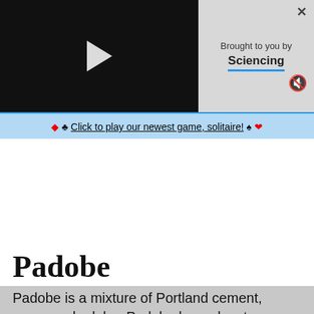[Figure (screenshot): Video player with black background and white play button triangle]
Brought to you by Sciencing
♦ ♣ Click to play our newest game, solitaire! ♠ ♥
Padobe
Padobe is a mixture of Portland cement, paper and adobe. Padobe has advantages over simple fiadobe. The problems of cracking during drying is